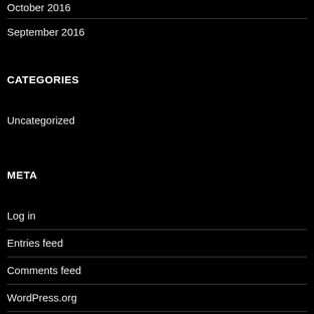October 2016
September 2016
CATEGORIES
Uncategorized
META
Log in
Entries feed
Comments feed
WordPress.org